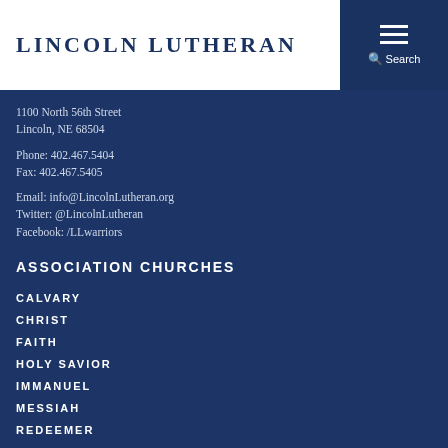Lincoln Lutheran
1100 North 56th Street
Lincoln, NE 68504

Phone: 402.467.5404
Fax: 402.467.5405

Email: info@LincolnLutheran.org
Twitter: @LincolnLutheran
Facebook: /LLwarriors
ASSOCIATION CHURCHES
CALVARY
CHRIST
FAITH
HOLY SAVIOR
IMMANUEL
MESSIAH
REDEEMER